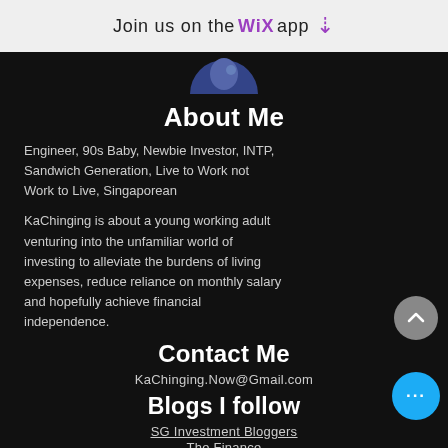Join us on the WiX app
[Figure (photo): Partial profile photo circle at top of dark section]
About Me
Engineer, 90s Baby, Newbie Investor, INTP, Sandwich Generation, Live to Work not Work to Live, Singaporean
KaChinging is about a young working adult venturing into the unfamiliar world of investing to alleviate the burdens of living expenses, reduce reliance on monthly salary and hopefully achieve financial independence.
Contact Me
KaChinging.Now@Gmail.com
Blogs I follow
SG Investment Bloggers
The Finance
[Figure (infographic): Social media icons: YouTube, LinkedIn, Facebook, Twitter, RSS]